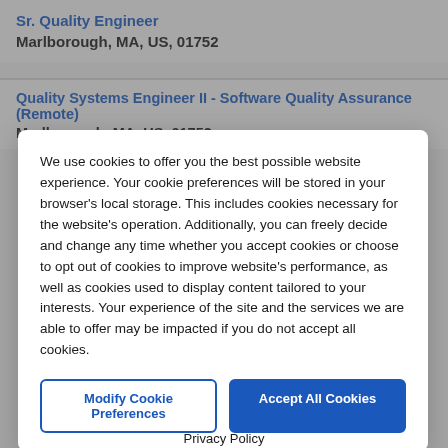Sr. Quality Engineer
Marlborough, MA, US, 01752
Quality Systems Engineer II - Software Quality Assurance (Remote)
Marlborough, MA, US, 01752
We use cookies to offer you the best possible website experience. Your cookie preferences will be stored in your browser's local storage. This includes cookies necessary for the website's operation. Additionally, you can freely decide and change any time whether you accept cookies or choose to opt out of cookies to improve website's performance, as well as cookies used to display content tailored to your interests. Your experience of the site and the services we are able to offer may be impacted if you do not accept all cookies.
Modify Cookie Preferences
Accept All Cookies
Privacy Policy